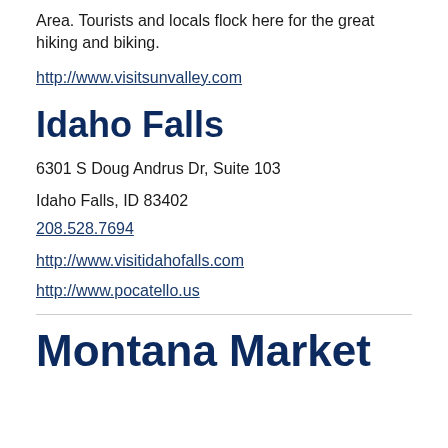Area. Tourists and locals flock here for the great hiking and biking.
http://www.visitsunvalley.com
Idaho Falls
6301 S Doug Andrus Dr, Suite 103
Idaho Falls, ID 83402
208.528.7694
http://www.visitidahofalls.com
http://www.pocatello.us
Montana Market